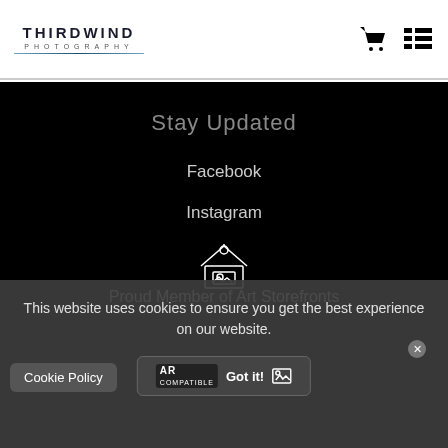[Figure (logo): ThirdWind Photography logo with stylized text and horizontal lines]
Stay Updated
Facebook
Instagram
[Figure (illustration): Art Storefronts building/storefront icon in white outline]
Proud Member of Art Storefronts
This website uses cookies to ensure you get the best experience on our website.
Cookie Policy
Got it!